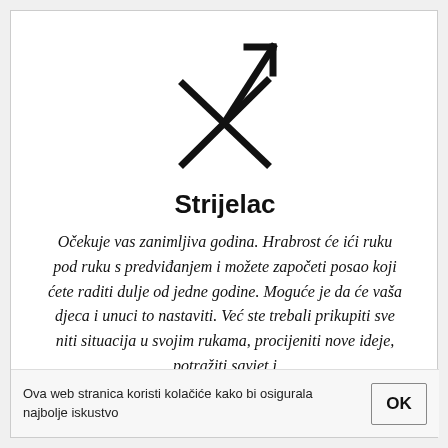[Figure (illustration): Sagittarius zodiac symbol — an X shape (crossed arrows) with an arrow pointing upper right, drawn in thick black lines]
Strijelac
Očekuje vas zanimljiva godina. Hrabrost će ići ruku pod ruku s predviđanjem i možete započeti posao koji ćete raditi dulje od jedne godine. Moguće je da će vaša djeca i unuci to nastaviti. Već ste trebali prikupiti sve niti situacija u svojim rukama, procijeniti nove ideje, potražiti saviet i
Ova web stranica koristi kolačiće kako bi osigurala najbolje iskustvo
OK